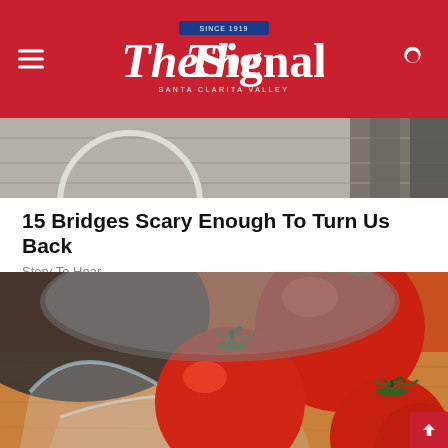The Signal — Santa Clarita Valley
[Figure (photo): Grayscale photo strip showing a wooden bridge structure]
15 Bridges Scary Enough To Turn Us Back
Story To Hear
[Figure (photo): Close-up photo of red tomatoes in a glass bowl on a wooden surface]